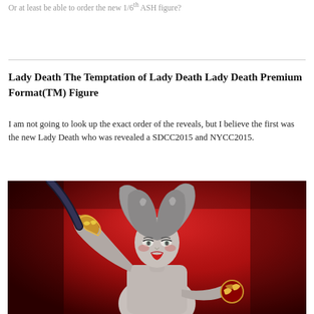Or at least be able to order the new 1/6th ASH figure?
Lady Death The Temptation of Lady Death Lady Death Premium Format(TM) Figure
I am not going to look up the exact order of the reveals, but I believe the first was the new Lady Death who was revealed a SDCC2015 and NYCC2015.
[Figure (photo): Photo of Lady Death Premium Format figure — a pale female figure with large swooping silver-white hair, red lips, gold ornate arm bracers, holding a dark weapon, set against a vivid red background.]